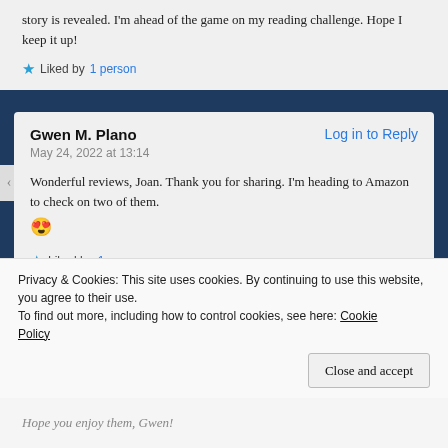story is revealed. I’m ahead of the game on my reading challenge. Hope I keep it up!
Liked by 1 person
Gwen M. Plano
Log in to Reply
May 24, 2022 at 13:14
Wonderful reviews, Joan. Thank you for sharing. I’m heading to Amazon to check on two of them. 😍
Liked by 1 person
Privacy & Cookies: This site uses cookies. By continuing to use this website, you agree to their use.
To find out more, including how to control cookies, see here: Cookie Policy
Close and accept
Hope you enjoy them, Gwen!